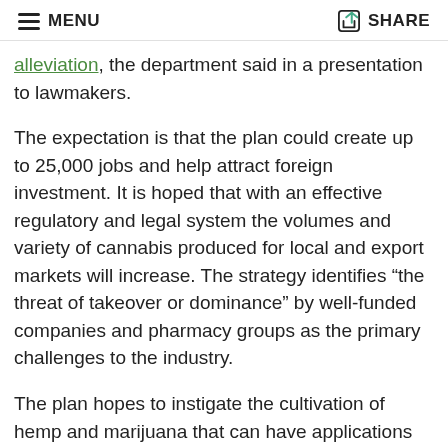MENU   SHARE
alleviation, the department said in a presentation to lawmakers.
The expectation is that the plan could create up to 25,000 jobs and help attract foreign investment. It is hoped that with an effective regulatory and legal system the volumes and variety of cannabis produced for local and export markets will increase. The strategy identifies “the threat of takeover or dominance” by well-funded companies and pharmacy groups as the primary challenges to the industry.
The plan hopes to instigate the cultivation of hemp and marijuana that can have applications from